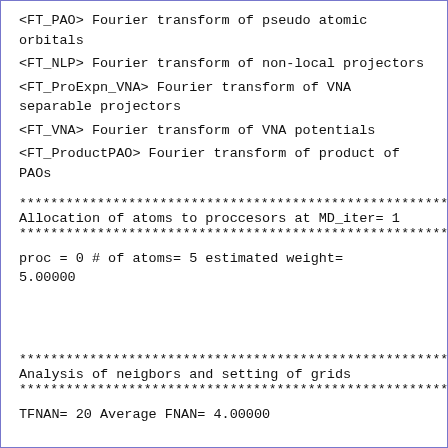<FT_PAO> Fourier transform of pseudo atomic orbitals
<FT_NLP> Fourier transform of non-local projectors
<FT_ProExpn_VNA> Fourier transform of VNA separable projectors
<FT_VNA> Fourier transform of VNA potentials
<FT_ProductPAO> Fourier transform of product of PAOs
********************************************************
Allocation of atoms to proccesors at MD_iter= 1
********************************************************
proc = 0 # of atoms= 5 estimated weight= 5.00000
********************************************************
Analysis of neigbors and setting of grids
********************************************************
TFNAN= 20 Average FNAN= 4.00000